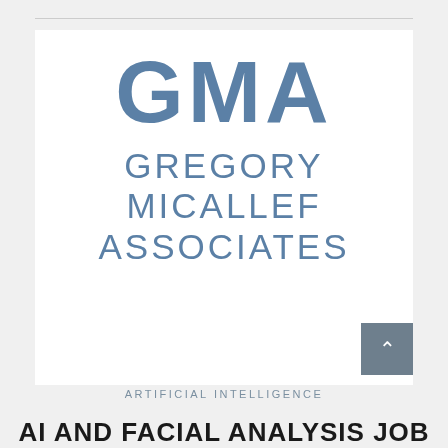[Figure (logo): GMA Gregory Micallef Associates logo — large bold 'GMA' text above 'GREGORY MICALLEF ASSOCIATES' in steel blue on white background]
ARTIFICIAL INTELLIGENCE
AI AND FACIAL ANALYSIS JOB